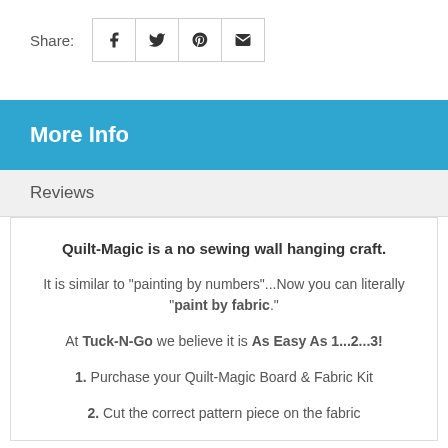[Figure (other): Share label with social media icons for Facebook, Twitter, Pinterest, and Email in bordered boxes]
More Info
Reviews
Quilt-Magic is a no sewing wall hanging craft.
It is similar to "painting by numbers"...Now you can literally "paint by fabric."
At Tuck-N-Go we believe it is As Easy As 1...2...3!
1. Purchase your Quilt-Magic Board & Fabric Kit
2. Cut the correct pattern piece on the fabric